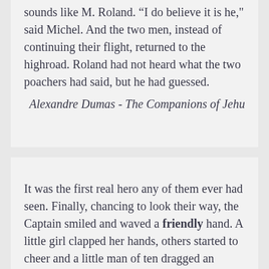sounds like M. Roland. 'I do believe it is he,' said Michel. And the two men, instead of continuing their flight, returned to the highroad. Roland had not heard what the two poachers had said, but he had guessed.
Alexandre Dumas - The Companions of Jehu
It was the first real hero any of them ever had seen. Finally, chancing to look their way, the Captain smiled and waved a friendly hand. A little girl clapped her hands, others started to cheer and a little man of ten dragged an American flag from his pocket and waved it. The Captain beckoned to the children. "Come in, folks,"